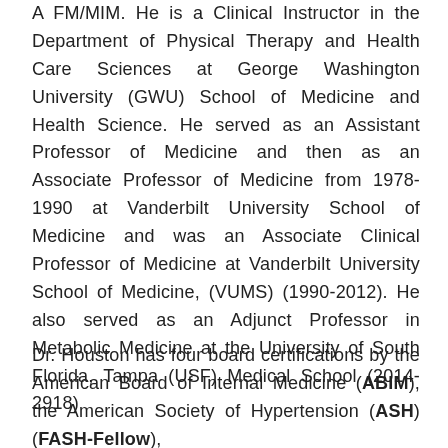A FM/MIM. He is a Clinical Instructor in the Department of Physical Therapy and Health Care Sciences at George Washington University (GWU) School of Medicine and Health Science. He served as an Assistant Professor of Medicine and then as an Associate Professor of Medicine from 1978-1990 at Vanderbilt University School of Medicine and was an Associate Clinical Professor of Medicine at Vanderbilt University School of Medicine, (VUMS) (1990-2012). He also served as an Adjunct Professor in Metabolic Medicine at the University of South Florida, Tampa (USF) Medical School (2014-2918)
Dr. Houston has four board certifications by the American Board of Internal Medicine (ABIM), the American Society of Hypertension (ASH) (FASH-Fellow),